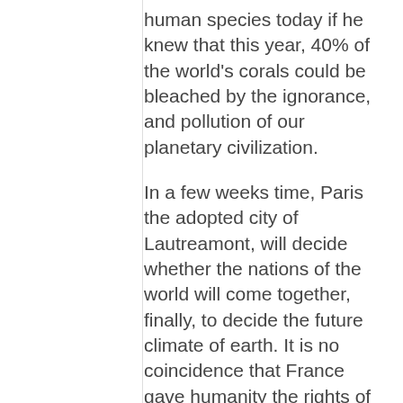human species today if he knew that this year, 40% of the world's corals could be bleached by the ignorance, and pollution of our planetary civilization.
In a few weeks time, Paris the adopted city of Lautreamont, will decide whether the nations of the world will come together, finally, to decide the future climate of earth. It is no coincidence that France gave humanity the rights of liberty, equality and fraternity and that Parisians will barricade the streets until a climate treaty is in hand. They will fight for a French